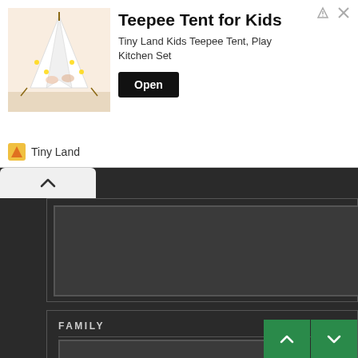[Figure (screenshot): Advertisement banner for Teepee Tent for Kids by Tiny Land, showing a children's play tent image, title, subtitle 'Tiny Land Kids Teepee Tent, Play Kitchen Set', and an Open button]
[Figure (screenshot): Dark-themed app UI showing a family tree/contacts view. A partially visible top card with a back chevron button. A 'FAMILY' section heading with a 200x200 photo placeholder. Two person entries visible: 'BAXTER,LANDONGRA' with relation 'Richard's best friend', and 'FITZROY,EVAN' with relation 'Rebecca's brother'. Green navigation arrow buttons at bottom right.]